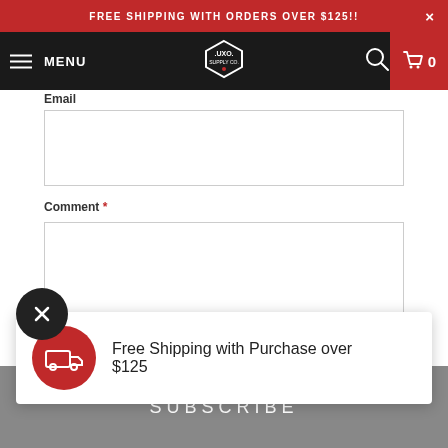FREE SHIPPING WITH ORDERS OVER $125!!
[Figure (screenshot): Navigation bar with hamburger menu, MENU text, UXO shield logo, search icon, and cart icon with 0 count]
Email
Comment *
[Figure (infographic): Notification popup: Free Shipping with Purchase over $125 with red circle truck icon]
SUBSCRIBE